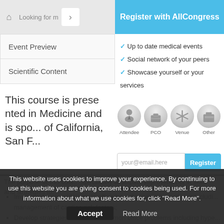Looking for m... > Register with AllCongress
Up to date medical events
Social network of your peers
Showcase yourself or your services
[Figure (infographic): Four circular icon buttons: Attendee, PCO, Venue, Other]
your@email.here
Event Preview
Scientific Content
This course is presented in... Medicine and is spo... of California, San F...
The purpose of this cour... specifically anticipate improvements in skills and strategies to:
Implement new guidelines in office-based preventive medicine includi... management of cardiac risk factors;
Develop strategies to care for common office problems including hype...
This website uses cookies to improve your experience. By continuing to use this website you are giving consent to cookies being used. For more information about what we use cookies for, click "Read More".